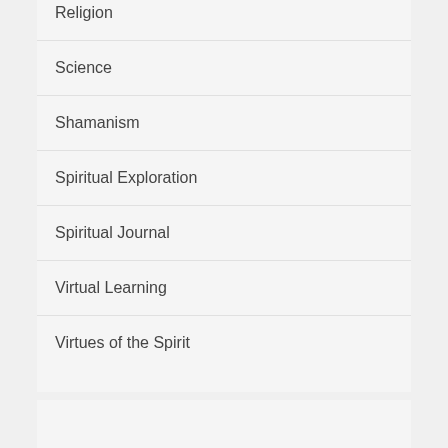Religion
Science
Shamanism
Spiritual Exploration
Spiritual Journal
Virtual Learning
Virtues of the Spirit